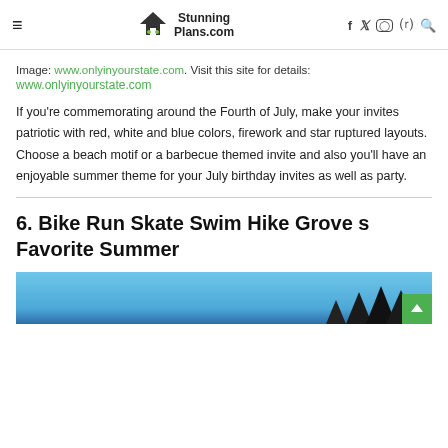≡  StunningPlans.com  f  Twitter  Instagram  Pinterest  Search
Image: www.onlyinyourstate.com. Visit this site for details: www.onlyinyourstate.com
If you're commemorating around the Fourth of July, make your invites patriotic with red, white and blue colors, firework and star ruptured layouts. Choose a beach motif or a barbecue themed invite and also you'll have an enjoyable summer theme for your July birthday invites as well as party.
6. Bike Run Skate Swim Hike Grove s Favorite Summer
[Figure (photo): Bottom portion of a photo showing a blue sky and dark tree silhouettes at the bottom right]